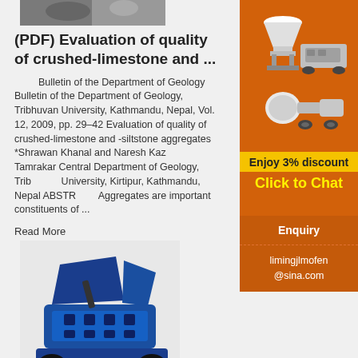[Figure (photo): Partial top image of crushed limestone or machinery, cropped]
(PDF) Evaluation of quality of crushed-limestone and ...
Bulletin of the Department of Geology Bulletin of the Department of Geology, Tribhuvan University, Kathmandu, Nepal, Vol. 12, 2009, pp. 29–42 Evaluation of quality of crushed-limestone and -siltstone aggregates *Shrawan Khanal and Naresh Kazami Tamrakar Central Department of Geology, Tribhuvan University, Kirtipur, Kathmandu, Nepal ABSTRACT Aggregates are important constituents of ...
Read More
[Figure (photo): Blue industrial jaw crusher machine]
crushed limestone, crushed limestone Suppliers and ...
[Figure (photo): Advertisement sidebar showing mining/crushing machinery equipment with orange background]
Enjoy 3% discount
Click to Chat
Enquiry
limingjlmofen@sina.com